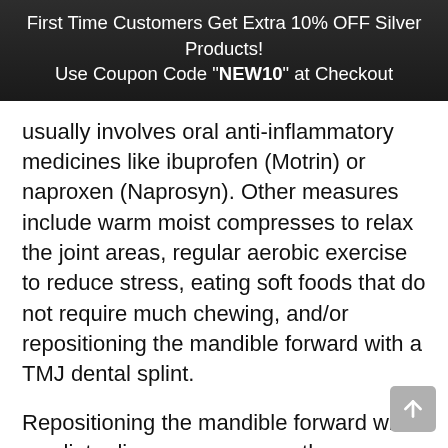First Time Customers Get Extra 10% OFF Silver Products! Use Coupon Code "NEW10" at Checkout
usually involves oral anti-inflammatory medicines like ibuprofen (Motrin) or naproxen (Naprosyn). Other measures include warm moist compresses to relax the joint areas, regular aerobic exercise to reduce stress, eating soft foods that do not require much chewing, and/or repositioning the mandible forward with a TMJ dental splint.
Repositioning the mandible forward with a splint relieves pressure on the nerves and blood vessels of the TMJ, and relieves pain. The splint changes the position of how the upper and lower teeth meet. To maintain this new position, the TMJ splint needs to be